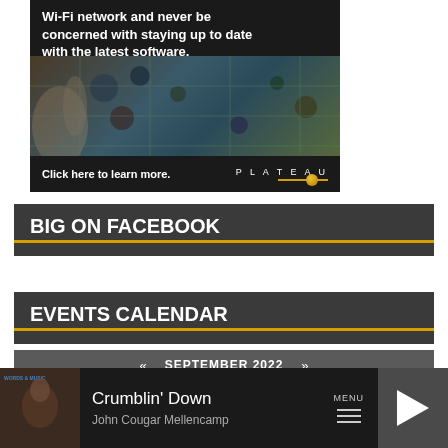[Figure (screenshot): Advertisement banner for Plateau showing text 'Wi-Fi network and never be concerned with staying up to date with the latest software.' over a dark background with a laptop repair/motherboard image, with 'Click here to learn more.' and Plateau logo at bottom]
BIG ON FACEBOOK
EVENTS CALENDAR
« SEPTEMBER 2022 »
M  T  W  T  F  S  S
[Figure (screenshot): Music player bar showing album art for 'Words & Music' by John Mellencamp, track 'Crumblin' Down' by John Cougar Mellencamp, with MENU hamburger icon and play button]